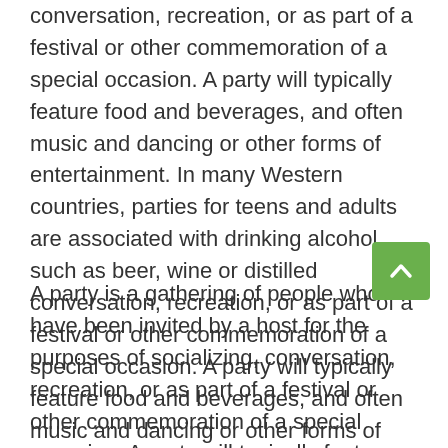conversation, recreation, or as part of a festival or other commemoration of a special occasion. A party will typically feature food and beverages, and often music and dancing or other forms of entertainment. In many Western countries, parties for teens and adults are associated with drinking alcohol such as beer, wine or distilled conversation, recreation, or as part of a festival or other commemoration of a special occasion. A party will typically feature food and beverages, and often music and dancing or other forms of entertainment.
A party is a gathering of people who have been invited by a host for the purposes of socializing, conversation, recreation, or as part of a festival or other commemoration of a special occasion. A party will typically feature food and beverages, and often music and dancing or other forms of entertainment.